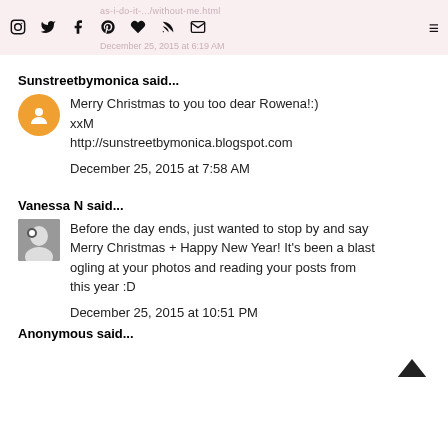as-i-do-it.../without-me.html
December 25, 2015 at 6:19 AM
Sunstreetbymonica said...
Merry Christmas to you too dear Rowena!:)
xxM
http://sunstreetbymonica.blogspot.com

December 25, 2015 at 7:58 AM
Vanessa N said...
Before the day ends, just wanted to stop by and say Merry Christmas + Happy New Year! It's been a blast ogling at your photos and reading your posts from this year :D

December 25, 2015 at 10:51 PM
Anonymous said...